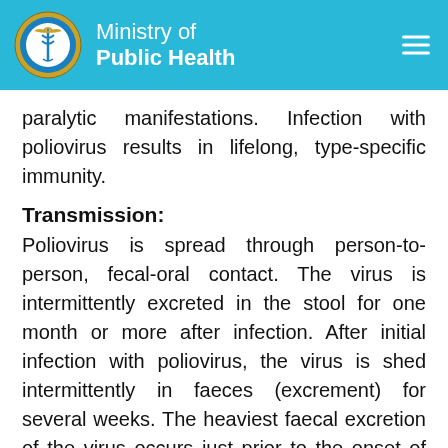Ministry of Public Health
paralytic manifestations. Infection with poliovirus results in lifelong, type-specific immunity.
Transmission:
Poliovirus is spread through person-to-person, fecal-oral contact. The virus is intermittently excreted in the stool for one month or more after infection. After initial infection with poliovirus, the virus is shed intermittently in faeces (excrement) for several weeks. The heaviest faecal excretion of the virus occurs just prior to the onset of paralysis and durin